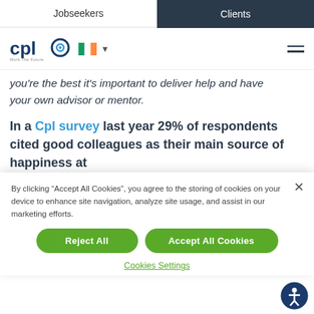Jobseekers | Clients
[Figure (logo): CPL logo with 'Work The Future' tagline, Ireland flag, and hamburger menu]
you're the best it's important to deliver help and have your own advisor or mentor.
In a Cpl survey last year 29% of respondents cited good colleagues as their main source of happiness at
By clicking "Accept All Cookies", you agree to the storing of cookies on your device to enhance site navigation, analyze site usage, and assist in our marketing efforts.
Reject All
Accept All Cookies
Cookies Settings